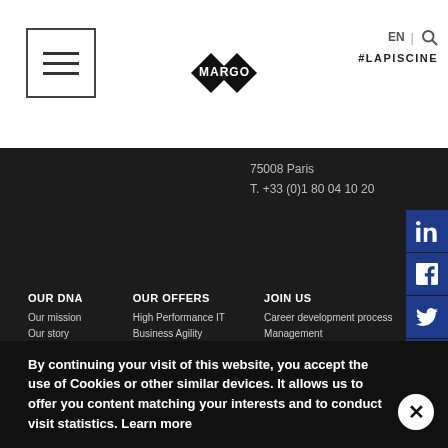[Figure (logo): MARGO logo with diamond shapes in black]
EN | (search icon)
#LAPISCINE
75008 Paris
T. +33 (0)1 80 04 10 20
[Figure (other): Social media sidebar with LinkedIn, Facebook, Twitter, Email icons on dark blue background]
OUR DNA
Our mission
Our story
Our values
Our managers
Our clients
OUR OFFERS
High Performance IT
Business Agility
Data to Business
IT for Business
JOIN US
Career development process
Management
Training
Requested profiles
Recruitment process
By continuing your visit of this website, you accept the use of Cookies or other similar devices. It allows us to offer you content matching your interests and to conduct visit statistics. Learn more